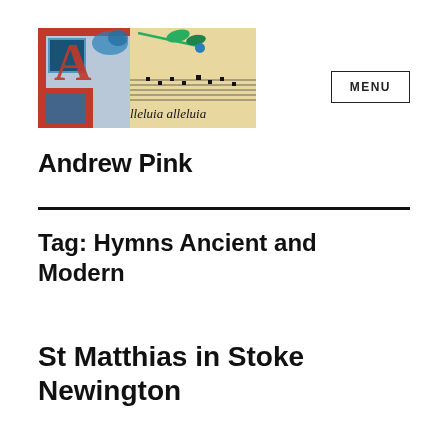[Figure (illustration): Illuminated manuscript header image showing a decorated capital letter with medieval musical notation and the text 'alleluia alleluia' in Gothic script on parchment background, with ornate red and blue decorative elements and a floral branch motif.]
Andrew Pink
Tag: Hymns Ancient and Modern
St Matthias in Stoke Newington